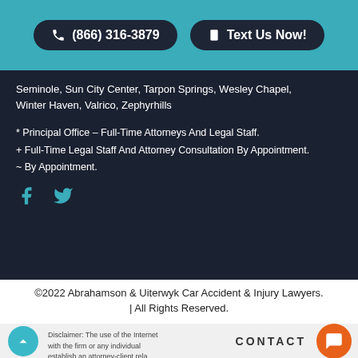(866) 316-3879
Text Us Now!
Seminole, Sun City Center, Tarpon Springs, Wesley Chapel, Winter Haven, Valrico, Zephyrhills
* Principal Office – Full-Time Attorneys And Legal Staff.
+ Full-Time Legal Staff And Attorney Consultation By Appointment.
~ By Appointment.
[Figure (illustration): Facebook and Twitter social media icons in teal/cyan color]
©2022 Abrahamson & Uiterwyk Car Accident & Injury Lawyers. | All Rights Reserved.
Disclaimer: The use of the Internet with the firm or any individual establish an attorney-client rela sensitive information should not be
Disclaimer & Privacy Policy
CONTACT